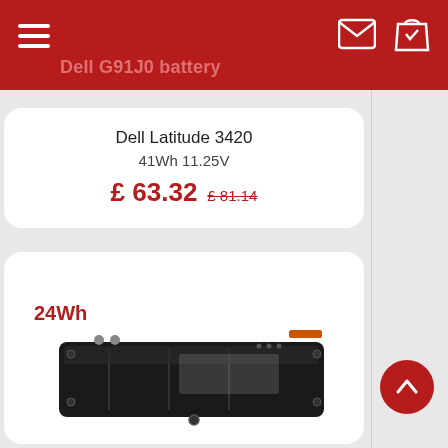Dell G91J0 battery
Dell Latitude 3420
41Wh 11.25V
£ 63.32  £ 81.14
[Figure (photo): Laptop battery product image with '24Wh' label in red text]
24Wh